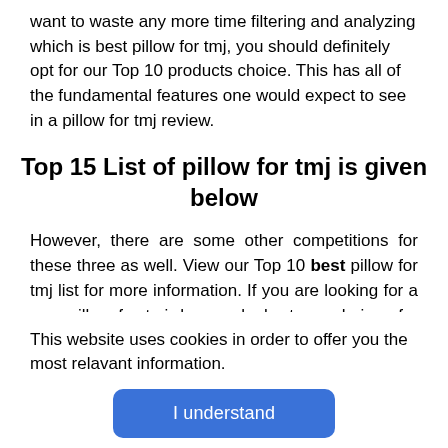want to waste any more time filtering and analyzing which is best pillow for tmj, you should definitely opt for our Top 10 products choice. This has all of the fundamental features one would expect to see in a pillow for tmj review.
Top 15 List of pillow for tmj is given below
However, there are some other competitions for these three as well. View our Top 10 best pillow for tmj list for more information. If you are looking for a new pillow for tmj, have a look at our choices for the finest pillow for tmj. To learn more about the many varieties of pillow for tmj available and how to select the best one for your needs.
This website uses cookies in order to offer you the most relavant information.
I understand